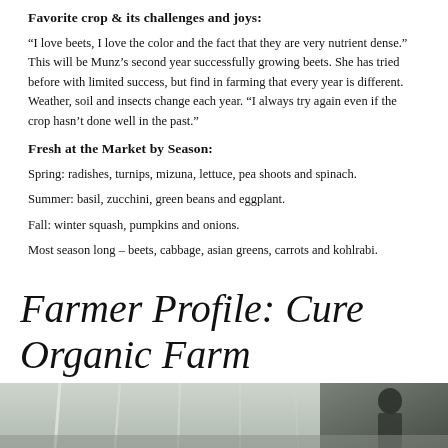Favorite crop & its challenges and joys:
“I love beets, I love the color and the fact that they are very nutrient dense.” This will be Munz’s second year successfully growing beets. She has tried before with limited success, but find in farming that every year is different. Weather, soil and insects change each year. “I always try again even if the crop hasn’t done well in the past.”
Fresh at the Market by Season:
Spring: radishes, turnips, mizuna, lettuce, pea shoots and spinach.
Summer: basil, zucchini, green beans and eggplant.
Fall: winter squash, pumpkins and onions.
Most season long – beets, cabbage, asian greens, carrots and kohlrabi.
Farmer Profile: Cure Organic Farm
[Figure (photo): Bottom strip of a photograph showing a farm scene, partially visible.]